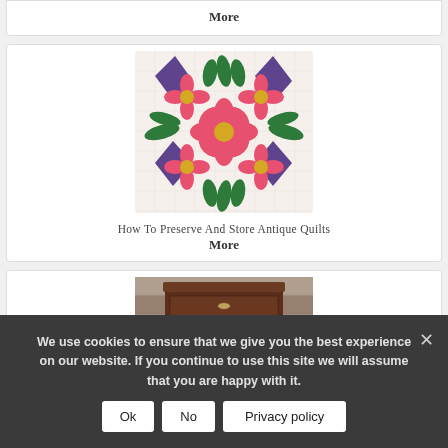More
[Figure (photo): An antique quilt with a floral pattern featuring pink flowers, green leaves, and purple accents on a white quilted background]
How To Preserve And Store Antique Quilts
More
[Figure (photo): An antique wooden dresser with multiple drawers and small metal drawer pulls, photographed against a rustic wooden plank background]
We use cookies to ensure that we give you the best experience on our website. If you continue to use this site we will assume that you are happy with it.
Ok
No
Privacy policy